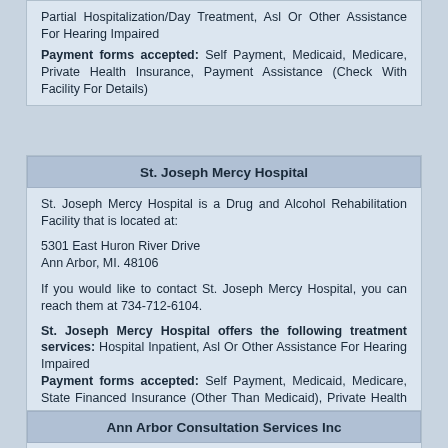Partial Hospitalization/Day Treatment, Asl Or Other Assistance For Hearing Impaired
Payment forms accepted: Self Payment, Medicaid, Medicare, Private Health Insurance, Payment Assistance (Check With Facility For Details)
St. Joseph Mercy Hospital
St. Joseph Mercy Hospital is a Drug and Alcohol Rehabilitation Facility that is located at:
5301 East Huron River Drive
Ann Arbor, MI. 48106
If you would like to contact St. Joseph Mercy Hospital, you can reach them at 734-712-6104.
St. Joseph Mercy Hospital offers the following treatment services: Hospital Inpatient, Asl Or Other Assistance For Hearing Impaired
Payment forms accepted: Self Payment, Medicaid, Medicare, State Financed Insurance (Other Than Medicaid), Private Health Insurance, Military Insurance (E.G., Va, Tricare)
Ann Arbor Consultation Services Inc